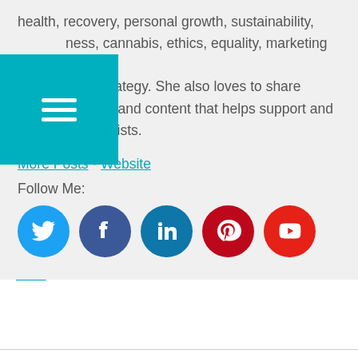health, recovery, personal growth, sustainability, wellness, cannabis, ethics, equality, marketing and business strategy. She also loves to share reviews, stories and content that helps support and feature other artists.
More Posts - Website
Follow Me:
[Figure (infographic): Five social media icon circles: Twitter (blue), Facebook (dark blue), LinkedIn (teal), Pinterest (dark red), YouTube (red)]
This entry was posted in Newsletter and tagged working from home.